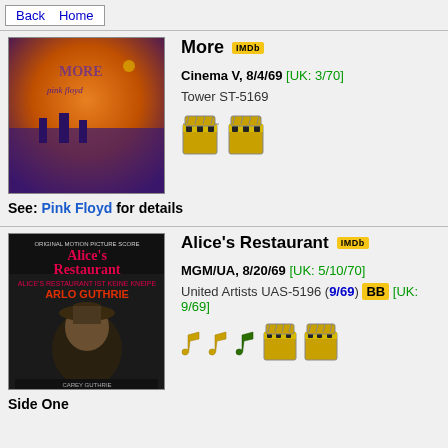Back  Home
[Figure (photo): Album cover for More by Pink Floyd — orange background with silhouettes, purple tones]
More
Cinema V, 8/4/69 [UK: 3/70]
Tower ST-5169
See: Pink Floyd for details
[Figure (photo): Album cover for Alice's Restaurant by Arlo Guthrie — dark cover with man in hat]
Alice's Restaurant
MGM/UA, 8/20/69 [UK: 5/10/70]
United Artists UAS-5196 (9/69) BB [UK: 9/69]
Side One